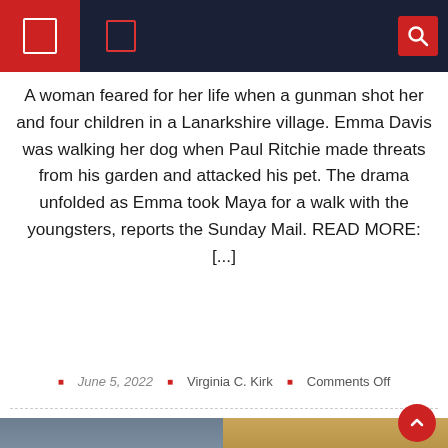Navigation header with menu icons and search
A woman feared for her life when a gunman shot her and four children in a Lanarkshire village. Emma Davis was walking her dog when Paul Ritchie made threats from his garden and attacked his pet. The drama unfolded as Emma took Maya for a walk with the youngsters, reports the Sunday Mail. READ MORE: [...]
June 5, 2022  Virginia C. Kirk  Comments Off
[Figure (photo): Two side-by-side photos: left shows a smiling middle-aged man in a white shirt against a dark background; right shows a Yorkshire Terrier dog being groomed with scissors.]